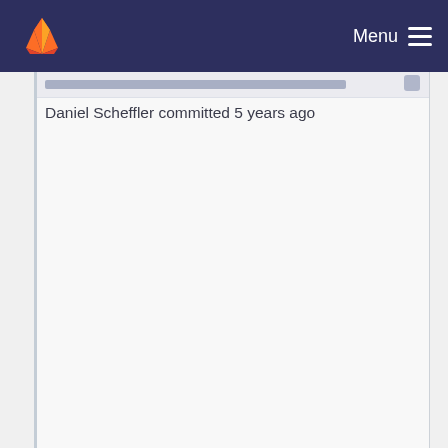[Figure (logo): GitLab fox logo in orange and red on dark navy navigation bar]
Menu
Daniel Scheffler committed 5 years ago